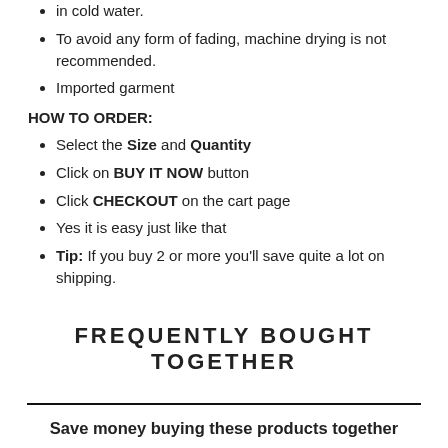in cold water.
To avoid any form of fading, machine drying is not recommended.
Imported garment
HOW TO ORDER:
Select the Size and Quantity
Click on BUY IT NOW button
Click CHECKOUT on the cart page
Yes it is easy just like that
Tip: If you buy 2 or more you'll save quite a lot on shipping.
FREQUENTLY BOUGHT TOGETHER
Save money buying these products together
[Figure (photo): Product image 1 - decorative item with autumn/orange tones]
[Figure (photo): Product image 2 - person holding a banner that reads 'To My Daughter']